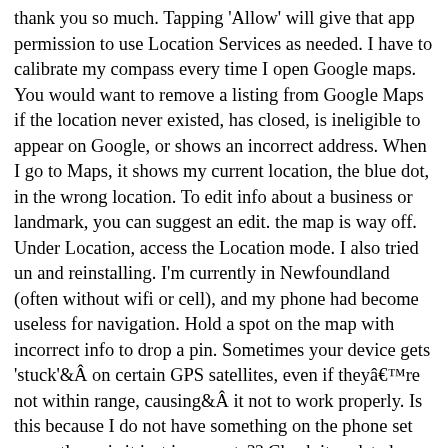thank you so much. Tapping 'Allow' will give that app permission to use Location Services as needed. I have to calibrate my compass every time I open Google maps. You would want to remove a listing from Google Maps if the location never existed, has closed, is ineligible to appear on Google, or shows an incorrect address. When I go to Maps, it shows my current location, the blue dot, in the wrong location. To edit info about a business or landmark, you can suggest an edit. the map is way off. Under Location, access the Location mode. I also tried un and reinstalling. I'm currently in Newfoundland (often without wifi or cell), and my phone had become useless for navigation. Hold a spot on the map with incorrect info to drop a pin. Sometimes your device gets 'stuck'Â on certain GPS satellites, even if theyâre not within range, causingÂ it not to work properly. Is this because I do not have something on the phone set correctly, or is it just inaccurate?? Check it updated or Not if it is not update.do update. It has gone from low to medium accuracy, but still too far off to give directions in the city (no tall buildings). What is annoying is that many apps which use location nag me to use the so called “high accuracy” setting. If you've recently used the web-based map application from a specific location and then accessed Google Maps again on a different one, you'll notice that Google Maps will use your previous location instead of your current. Active 2 years, 5 months ago. Connect a tablet (Eg. First Go to Settings of your Android device. Google maps shows my location correctly but my husband's location isn't showing on my phone even though he has